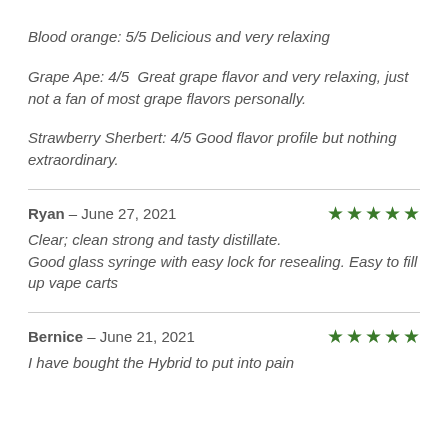Blood orange: 5/5 Delicious and very relaxing
Grape Ape: 4/5  Great grape flavor and very relaxing, just not a fan of most grape flavors personally.
Strawberry Sherbert: 4/5 Good flavor profile but nothing extraordinary.
Ryan – June 27, 2021  ★★★★★
Clear; clean strong and tasty distillate. Good glass syringe with easy lock for resealing. Easy to fill up vape carts
Bernice – June 21, 2021  ★★★★★
I have bought the Hybrid to put into pain